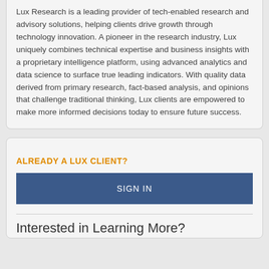Lux Research is a leading provider of tech-enabled research and advisory solutions, helping clients drive growth through technology innovation. A pioneer in the research industry, Lux uniquely combines technical expertise and business insights with a proprietary intelligence platform, using advanced analytics and data science to surface true leading indicators. With quality data derived from primary research, fact-based analysis, and opinions that challenge traditional thinking, Lux clients are empowered to make more informed decisions today to ensure future success.
ALREADY A LUX CLIENT?
SIGN IN
Interested in Learning More?